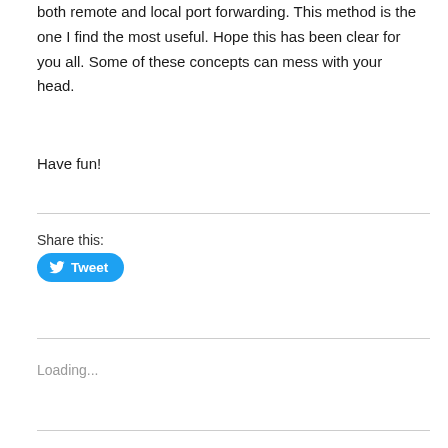There are many more ways to use SSH tunnels with both remote and local port forwarding. This method is the one I find the most useful. Hope this has been clear for you all. Some of these concepts can mess with your head.
Have fun!
Share this:
[Figure (other): Twitter Tweet button — blue rounded button with bird icon and 'Tweet' label]
Loading...